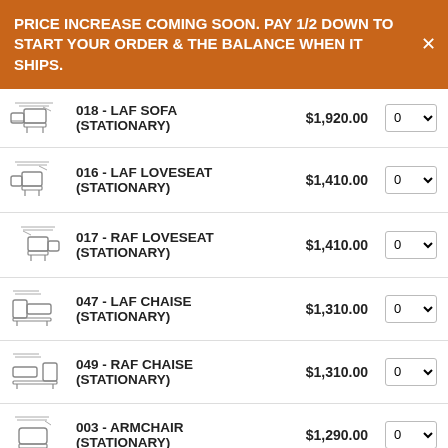PRICE INCREASE COMING SOON. PAY 1/2 DOWN TO START YOUR ORDER & THE BALANCE WHEN IT SHIPS.
| Image | Product | Price | Qty |
| --- | --- | --- | --- |
| [icon] | 018 - LAF SOFA (STATIONARY) | $1,920.00 | 0 |
| [icon] | 016 - LAF LOVESEAT (STATIONARY) | $1,410.00 | 0 |
| [icon] | 017 - RAF LOVESEAT (STATIONARY) | $1,410.00 | 0 |
| [icon] | 047 - LAF CHAISE (STATIONARY) | $1,310.00 | 0 |
| [icon] | 049 - RAF CHAISE (STATIONARY) | $1,310.00 | 0 |
| [icon] | 003 - ARMCHAIR (STATIONARY) | $1,290.00 | 0 |
| [icon] | 010 - OTTOMAN | $470.00 | 0 |